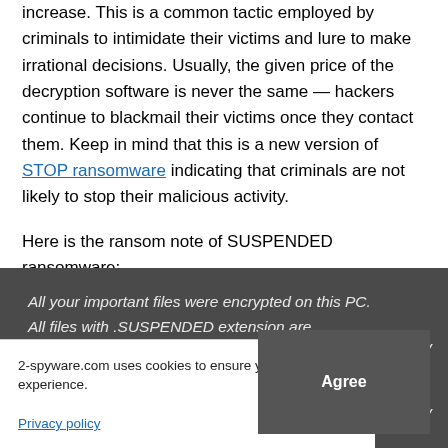increase. This is a common tactic employed by criminals to intimidate their victims and lure to make irrational decisions. Usually, the given price of the decryption software is never the same — hackers continue to blackmail their victims once they contact them. Keep in mind that this is a new version of STOP ransomware indicating that criminals are not likely to stop their malicious activity.
Here is the ransom note of SUSPENDED ransomware:
[Figure (screenshot): Dark gray ransom note box showing italic white text: 'All your important files were encrypted on this PC. All files with .SUSPENDED extension are encrypted.' with partial lines about private key visible.]
2-spyware.com uses cookies to ensure you get the best experience.